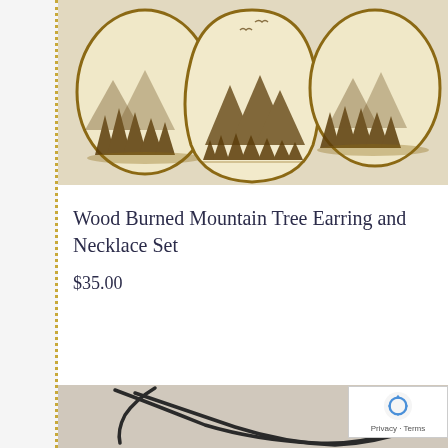[Figure (photo): Three wood-burned pendants with mountain and tree pyrography designs on light wood. Two oval-shaped pieces on left and right, one larger teardrop-shaped piece in the center showing mountains, trees, and birds.]
Wood Burned Mountain Tree Earring and Necklace Set
$35.00
[Figure (photo): A black cord necklace with a metal clasp/connector piece, laid flat on a light gray background. A reCAPTCHA verification widget is overlaid in the bottom right corner showing the reCAPTCHA logo and 'Privacy - Terms' text.]